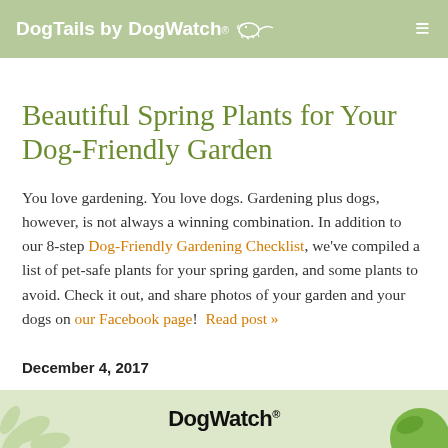DogTails by DogWatch®
Beautiful Spring Plants for Your Dog-Friendly Garden
You love gardening. You love dogs. Gardening plus dogs, however, is not always a winning combination. In addition to our 8-step Dog-Friendly Gardening Checklist, we've compiled a list of pet-safe plants for your spring garden, and some plants to avoid. Check it out, and share photos of your garden and your dogs on our Facebook page!  Read post »
December 4, 2017
[Figure (logo): DogWatch logo banner at bottom of page with leaf decorations]